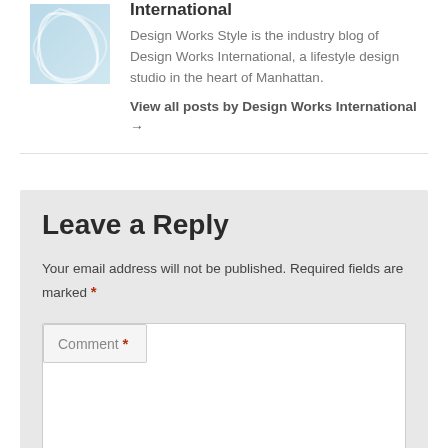[Figure (illustration): Author avatar image showing abstract blue swirl design on white background with light blue tones]
International
Design Works Style is the industry blog of Design Works International, a lifestyle design studio in the heart of Manhattan. View all posts by Design Works International →
Leave a Reply
Your email address will not be published. Required fields are marked *
Comment *